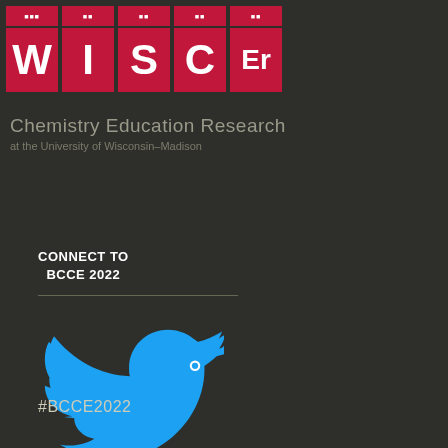[Figure (logo): WISCEr logo — five red boxes with letters W, I, S, C, Er in white bold text, with smaller text above each letter box]
Chemistry Education Research
at the University of Wisconsin–Madison
CONNECT TO
BCCE 2022
[Figure (illustration): Twitter bird logo in blue]
#BCCE2022